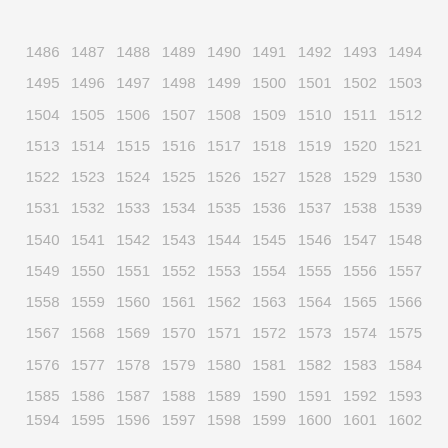| 1486 | 1487 | 1488 | 1489 | 1490 | 1491 | 1492 | 1493 | 1494 |
| 1495 | 1496 | 1497 | 1498 | 1499 | 1500 | 1501 | 1502 | 1503 |
| 1504 | 1505 | 1506 | 1507 | 1508 | 1509 | 1510 | 1511 | 1512 |
| 1513 | 1514 | 1515 | 1516 | 1517 | 1518 | 1519 | 1520 | 1521 |
| 1522 | 1523 | 1524 | 1525 | 1526 | 1527 | 1528 | 1529 | 1530 |
| 1531 | 1532 | 1533 | 1534 | 1535 | 1536 | 1537 | 1538 | 1539 |
| 1540 | 1541 | 1542 | 1543 | 1544 | 1545 | 1546 | 1547 | 1548 |
| 1549 | 1550 | 1551 | 1552 | 1553 | 1554 | 1555 | 1556 | 1557 |
| 1558 | 1559 | 1560 | 1561 | 1562 | 1563 | 1564 | 1565 | 1566 |
| 1567 | 1568 | 1569 | 1570 | 1571 | 1572 | 1573 | 1574 | 1575 |
| 1576 | 1577 | 1578 | 1579 | 1580 | 1581 | 1582 | 1583 | 1584 |
| 1585 | 1586 | 1587 | 1588 | 1589 | 1590 | 1591 | 1592 | 1593 |
| 1594 | 1595 | 1596 | 1597 | 1598 | 1599 | 1600 | 1601 | 1602 |